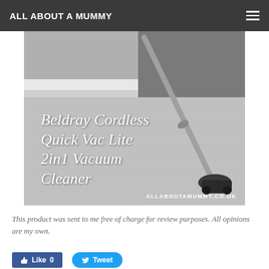ALL ABOUT A MUMMY
[Figure (photo): Black and white photo of a vacuum cleaner being used on carpet near a sofa, with text overlay reading 'Beldray Cordless Quick Vac Lite 2in1 Vacuum Cleaner' and website allaboutamummy.co.uk]
This product was sent to me free of charge for review purposes. All opinions are my own.
Like 0  Tweet